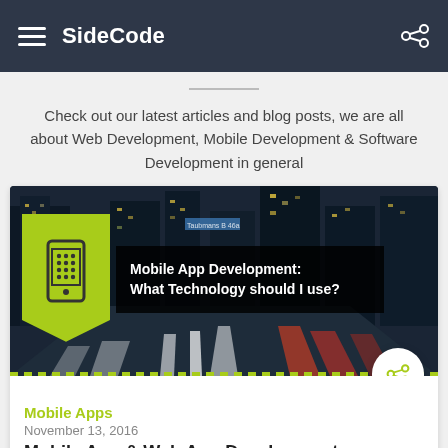SideCode
Check out our latest articles and blog posts, we are all about Web Development, Mobile Development & Software Development in general
[Figure (screenshot): Article card image: nighttime city highway with light trails, featuring a yellow-green banner with mobile phone icon and overlay text: 'Mobile App Development: What Technology should I use?']
Mobile Apps
November 13, 2016
Mobile App & Web App Development